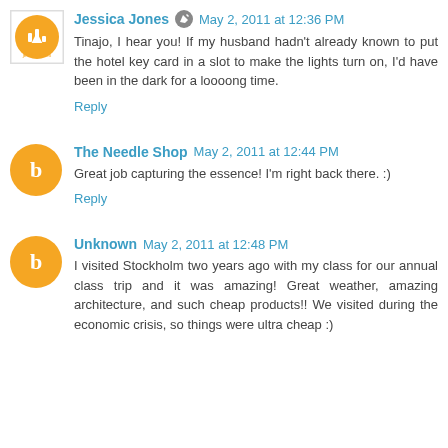Jessica Jones  May 2, 2011 at 12:36 PM
Tinajo, I hear you! If my husband hadn't already known to put the hotel key card in a slot to make the lights turn on, I'd have been in the dark for a loooong time.
Reply
The Needle Shop  May 2, 2011 at 12:44 PM
Great job capturing the essence! I'm right back there. :)
Reply
Unknown  May 2, 2011 at 12:48 PM
I visited Stockholm two years ago with my class for our annual class trip and it was amazing! Great weather, amazing architecture, and such cheap products!! We visited during the economic crisis, so things were ultra cheap :)